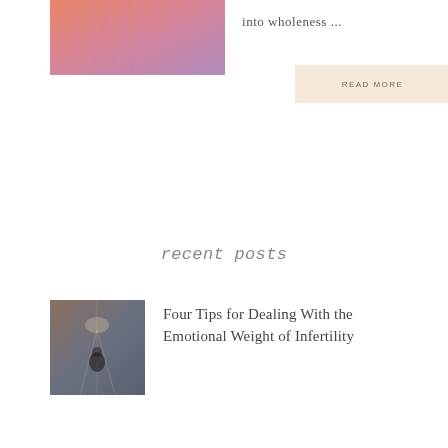[Figure (photo): Abstract gradient image with pink, orange, and purple tones]
into wholeness ...
READ MORE
recent posts
[Figure (photo): Photo of a woman in a dark hallway, appearing contemplative]
Four Tips for Dealing With the Emotional Weight of Infertility